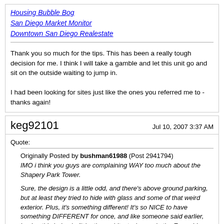Housing Bubble Bog
San Diego Market Monitor
Downtown San Diego Realestate
Thank you so much for the tips. This has been a really tough decision for me. I think I will take a gamble and let this unit go and sit on the outside waiting to jump in.

I had been looking for sites just like the ones you referred me to - thanks again!
keg92101
Jul 10, 2007 3:37 AM
Quote:
Originally Posted by bushman61988 (Post 2941794)
IMO i think you guys are complaining WAY too much about the Shapery Park Tower.

Sure, the design is a little odd, and there's above ground parking, but at least they tried to hide with glass and some of that weird exterior. Plus, it's something different! It's so NICE to have something DIFFERENT for once, and like someone said earlier, having this being built by the architect who made the Emerald Plaza definitely gives him some credibility. Plus, you got a rooftop restaraunt at one of the best locations possible, LEED certified, AND a glass elevator! (i'm sorry, but